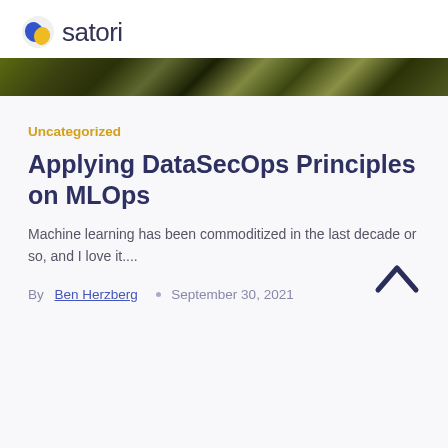satori
[Figure (photo): Hero image strip showing blurred outdoor/nature scene with dark tones]
Uncategorized
Applying DataSecOps Principles on MLOps
Machine learning has been commoditized in the last decade or so, and I love it....
By Ben Herzberg • September 30, 2021